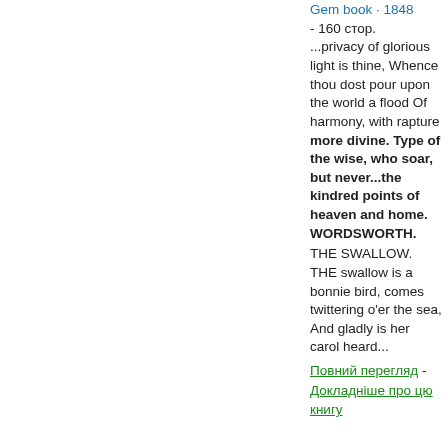Gem book · 1848 - 160 стор.
...privacy of glorious light is thine, Whence thou dost pour upon the world a flood Of harmony, with rapture more divine. Type of the wise, who soar, but never...the kindred points of heaven and home. WORDSWORTH.
THE SWALLOW.
THE swallow is a bonnie bird, comes twittering o'er the sea, And gladly is her carol heard...
Повний перегляд - Докладніше про цю книгу